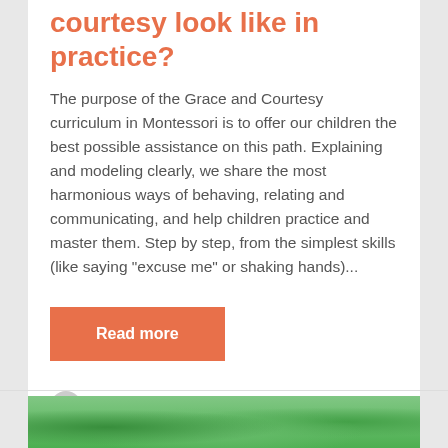courtesy look like in practice?
The purpose of the Grace and Courtesy curriculum in Montessori is to offer our children the best possible assistance on this path. Explaining and modeling clearly, we share the most harmonious ways of behaving, relating and communicating, and help children practice and master them. Step by step, from the simplest skills (like saying "excuse me" or shaking hands)...
Read more
International Montessori School of Prague
[Figure (photo): Green foliage/nature image strip at the bottom of the page]